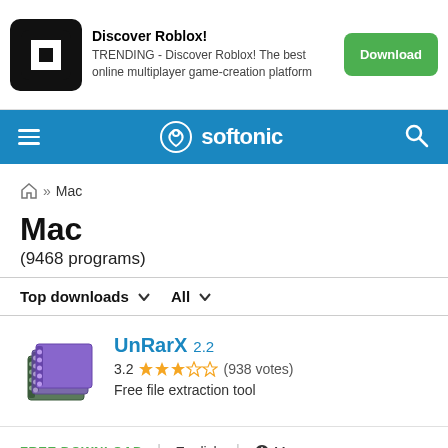[Figure (screenshot): Roblox advertisement banner with logo, text 'Discover Roblox! TRENDING - Discover Roblox! The best online multiplayer game-creation platform', and a green Download button]
softonic
Home » Mac
Mac
(9468 programs)
Top downloads ∨  All ∨
[Figure (illustration): UnRarX app icon - stacked purple/blue notebooks]
UnRarX 2.2
3.2 ★★★☆☆ (938 votes)
Free file extraction tool
FREE DOWNLOAD | English |  Mac